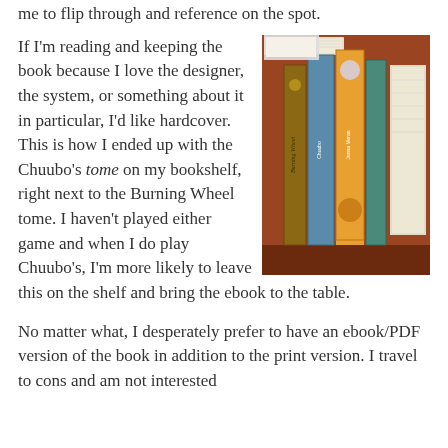me to flip through and reference on the spot.
If I'm reading and keeping the book because I love the designer, the system, or something about it in particular, I'd like hardcover. This is how I ended up with the Chuubo's tome on my bookshelf, right next to the Burning Wheel tome. I haven't played either game and when I do play Chuubo's, I'm more likely to leave this on the shelf and bring the ebook to the table.
[Figure (photo): A wooden bookshelf with several books standing upright, including what appears to be the Burning Wheel tome and Chuubo's tome, with a yellow sticky note visible on one spine.]
No matter what, I desperately prefer to have an ebook/PDF version of the book in addition to the print version. I travel to cons and am not interested